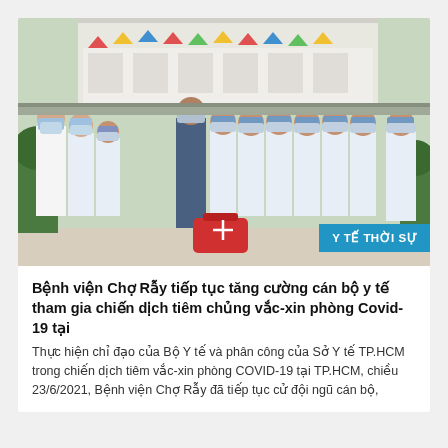[Figure (photo): Group photo of medical workers in white uniforms and blue surgical caps wearing face masks, posing together outdoors at a hospital courtyard with colorful bunting in the background. A red emergency bag sits on the ground in front of them.]
Y TẾ THỜI SỰ
Bệnh viện Chợ Rẫy tiếp tục tăng cường cán bộ y tế tham gia chiến dịch tiêm chủng vắc-xin phòng Covid-19 tại
Thực hiện chỉ đạo của Bộ Y tế và phân công của Sở Y tế TP.HCM trong chiến dịch tiêm vắc-xin phòng COVID-19 tại TP.HCM, chiều 23/6/2021, Bệnh viện Chợ Rẫy đã tiếp tục cử đội ngũ cán bộ,